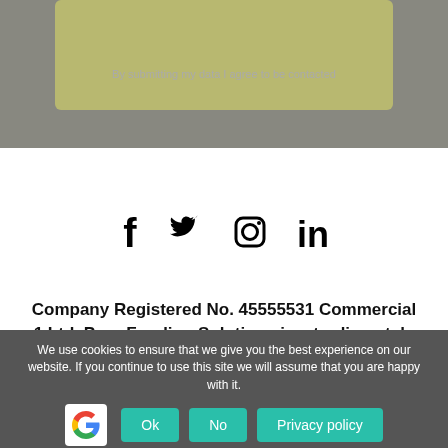By submitting my data I agree to be contacted
[Figure (illustration): Social media icons: Facebook, Twitter, Instagram, LinkedIn]
Company Registered No. 45555531 Commercial 1 Ltd. Pure Funding Solutions is a trading style of
We use cookies to ensure that we give you the best experience on our website. If you continue to use this site we will assume that you are happy with it.